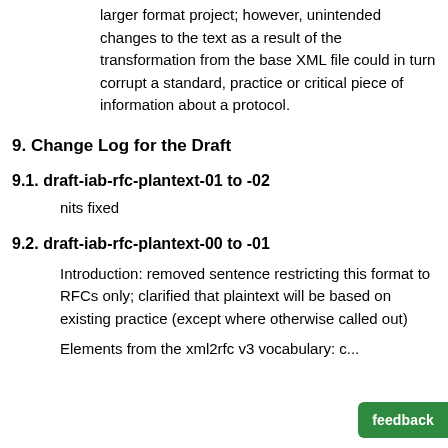larger format project; however, unintended changes to the text as a result of the transformation from the base XML file could in turn corrupt a standard, practice or critical piece of information about a protocol.
9. Change Log for the Draft
9.1. draft-iab-rfc-plantext-01 to -02
nits fixed
9.2. draft-iab-rfc-plantext-00 to -01
Introduction: removed sentence restricting this format to RFCs only; clarified that plaintext will be based on existing practice (except where otherwise called out)
Elements from the xml2rfc v3 vocabulary: c...